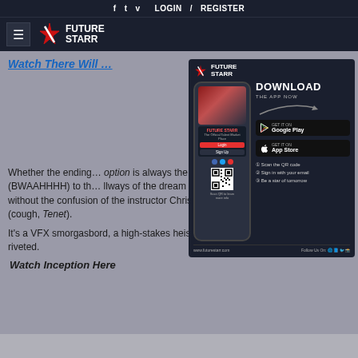f  t  v  LOGIN  /  REGISTER
[Figure (logo): FutureStarr logo with hamburger menu icon and star emblem]
Watch There Will…
[Figure (infographic): FutureStarr app download advertisement showing phone mockup, Download the App Now CTA, Google Play and App Store buttons, QR code, and steps to use]
Whether the ending… option is always the best experience to… excellent score (BWAAHHHH) to th… llways of the dream world. Inception… gawking throughout, without the confusion of the instructor Christopher Nolan's more recent work (cough, Tenet).
It's a VFX smorgasbord, a high-stakes heist, and a thriller that always has us riveted.
Watch Inception Here